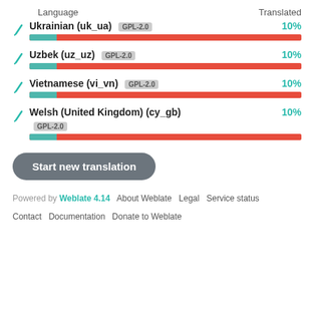| Language | Translated |
| --- | --- |
| Ukrainian (uk_ua) GPL-2.0 | 10% |
| Uzbek (uz_uz) GPL-2.0 | 10% |
| Vietnamese (vi_vn) GPL-2.0 | 10% |
| Welsh (United Kingdom) (cy_gb) GPL-2.0 | 10% |
Start new translation
Powered by Weblate 4.14  About Weblate  Legal  Service status  Contact  Documentation  Donate to Weblate